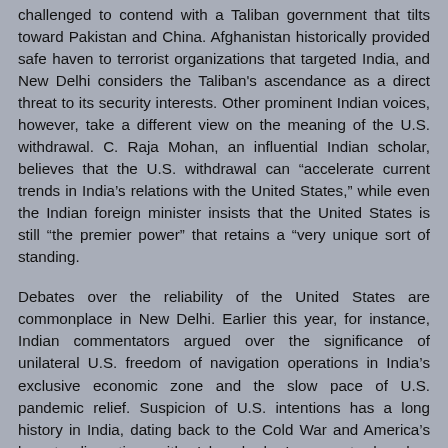challenged to contend with a Taliban government that tilts toward Pakistan and China. Afghanistan historically provided safe haven to terrorist organizations that targeted India, and New Delhi considers the Taliban's ascendance as a direct threat to its security interests. Other prominent Indian voices, however, take a different view on the meaning of the U.S. withdrawal. C. Raja Mohan, an influential Indian scholar, believes that the U.S. withdrawal can “accelerate current trends in India’s relations with the United States,” while even the Indian foreign minister insists that the United States is still “the premier power” that retains a “very unique sort of standing.
Debates over the reliability of the United States are commonplace in New Delhi. Earlier this year, for instance, Indian commentators argued over the significance of unilateral U.S. freedom of navigation operations in India’s exclusive economic zone and the slow pace of U.S. pandemic relief. Suspicion of U.S. intentions has a long history in India, dating back to the Cold War and America’s longstanding ties with Islamabad. In recent decades, however, New Delhi has been able to count on Washington when in crisis. Last year, the United States rapidly provided